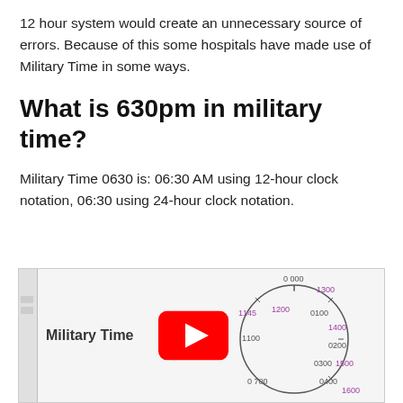12 hour system would create an unnecessary source of errors. Because of this some hospitals have made use of Military Time in some ways.
What is 630pm in military time?
Military Time 0630 is: 06:30 AM using 12-hour clock notation, 06:30 using 24-hour clock notation.
[Figure (screenshot): YouTube video thumbnail showing a hand-drawn clock diagram labeled 'Military Time' with military time numbers (0000, 1145, 1100, 1200, 0100, 1300, 1400, 0200, 1500, 0300, 0400, 1600, 0700) around a circle, and a red YouTube play button overlay.]